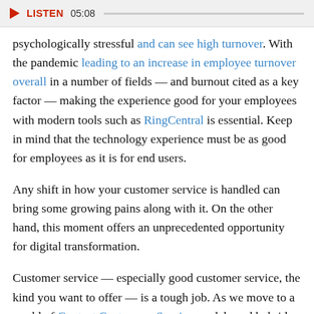[Figure (other): Audio player bar with play button, LISTEN label, timestamp 05:08, and progress track]
psychologically stressful and can see high turnover. With the pandemic leading to an increase in employee turnover overall in a number of fields — and burnout cited as a key factor — making the experience good for your employees with modern tools such as RingCentral is essential. Keep in mind that the technology experience must be as good for employees as it is for end users.
Any shift in how your customer service is handled can bring some growing pains along with it. On the other hand, this moment offers an unprecedented opportunity for digital transformation.
Customer service — especially good customer service, the kind you want to offer — is a tough job. As we move to a world of Contact Center as a Service models and hybrid work becomes the norm, it's worth remembering that you